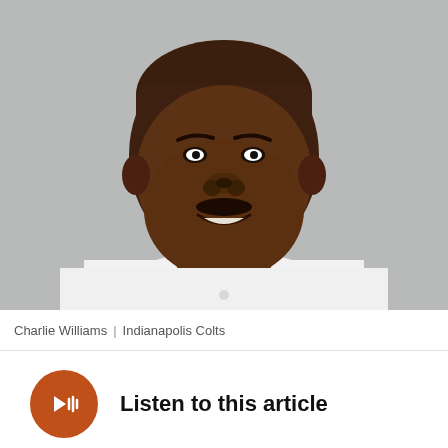[Figure (photo): Headshot photo of Charlie Williams in a white polo shirt against a gray background]
Charlie Williams | Indianapolis Colts
Listen to this article